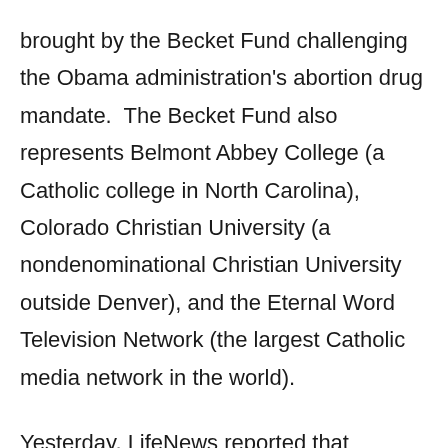brought by the Becket Fund challenging the Obama administration's abortion drug mandate.  The Becket Fund also represents Belmont Abbey College (a Catholic college in North Carolina), Colorado Christian University (a nondenominational Christian University outside Denver), and the Eternal Word Television Network (the largest Catholic media network in the world).
Yesterday, LifeNews reported that Geneva College and Louisiana College also filed suit.
Meanwhile, more than a dozen state attorneys general have signed onto a joint letter Nebraska Attorney General Jon Bruning started coordinating